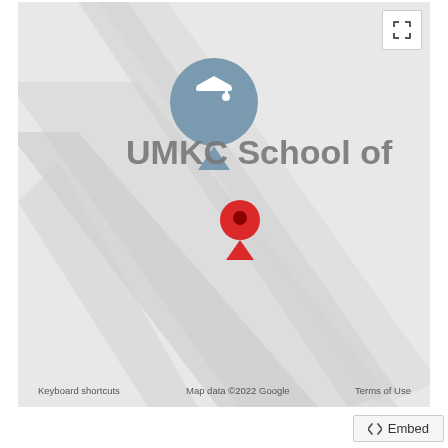[Figure (map): Google Maps screenshot showing UMKC School of location with a graduation cap marker (blue/grey) and a red location pin marker in the center. The map background is light grey with diagonal road/path features. Includes fullscreen button in top-right corner.]
Keyboard shortcuts   Map data ©2022 Google   Terms of Use
</> Embed